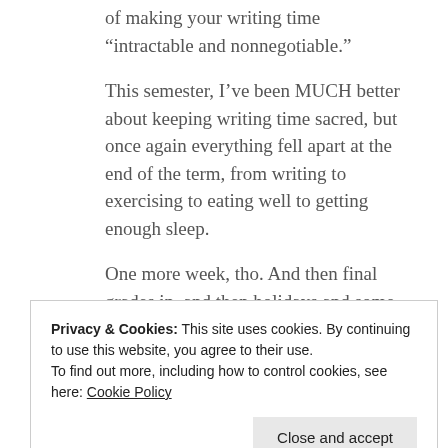of making your writing time “intractable and nonnegotiable.”
This semester, I’ve been MUCH better about keeping writing time sacred, but once again everything fell apart at the end of the term, from writing to exercising to eating well to getting enough sleep.
One more week, tho. And then final grades in, and then holidays and some travel to Virginia,
Privacy & Cookies: This site uses cookies. By continuing to use this website, you agree to their use.
To find out more, including how to control cookies, see here: Cookie Policy
fact check that. Anyway, I don’t know what